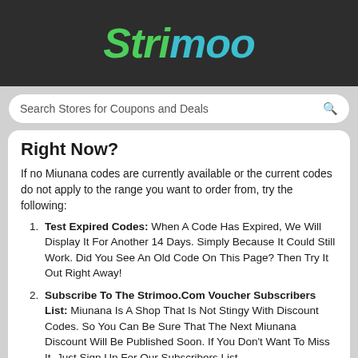Strimoo
Search Stores for Coupons and Deals
Right Now?
If no Miunana codes are currently available or the current codes do not apply to the range you want to order from, try the following:
Test Expired Codes: When A Code Has Expired, We Will Display It For Another 14 Days. Simply Because It Could Still Work. Did You See An Old Code On This Page? Then Try It Out Right Away!
Subscribe To The Strimoo.Com Voucher Subscribers List: Miunana Is A Shop That Is Not Stingy With Discount Codes. So You Can Be Sure That The Next Miunana Discount Will Be Published Soon. If You Don't Want To Miss It, Just Sign Up For Our Subscribers List.